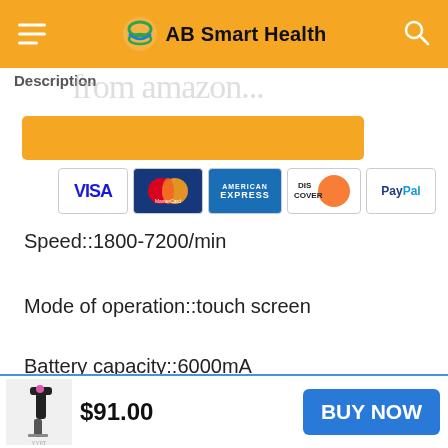AB Smart Health
Description
Speed::1800-7200/min
Mode of operation::touch screen
Battery capacity::6000mA
Color ::Gray, Purple, Blue
$91.00
BUY NOW